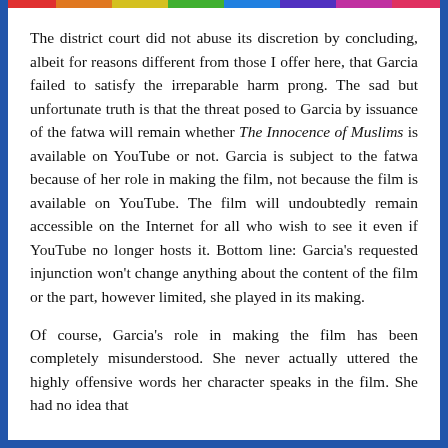The district court did not abuse its discretion by concluding, albeit for reasons different from those I offer here, that Garcia failed to satisfy the irreparable harm prong. The sad but unfortunate truth is that the threat posed to Garcia by issuance of the fatwa will remain whether The Innocence of Muslims is available on YouTube or not. Garcia is subject to the fatwa because of her role in making the film, not because the film is available on YouTube. The film will undoubtedly remain accessible on the Internet for all who wish to see it even if YouTube no longer hosts it. Bottom line: Garcia's requested injunction won't change anything about the content of the film or the part, however limited, she played in its making.
Of course, Garcia's role in making the film has been completely misunderstood. She never actually uttered the highly offensive words her character speaks in the film. She had no idea that